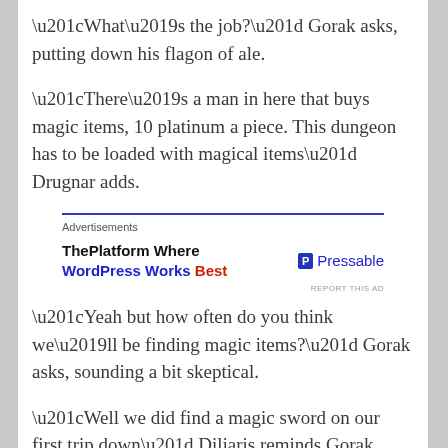“What’s the job?” Gorak asks, putting down his flagon of ale.
“There’s a man in here that buys magic items, 10 platinum a piece. This dungeon has to be loaded with magical items” Drugnar adds.
[Figure (other): Advertisement banner for Pressable hosting: 'ThePlatform Where WordPress Works Best' with Pressable logo]
“Yeah but how often do you think we’ll be finding magic items?” Gorak asks, sounding a bit skeptical.
“Well we did find a magic sword on our first trip down” Diljaris reminds Gorak.
Yeah don’t forget about Janice” Roakala adds, breaking her silence. She places the magic sword